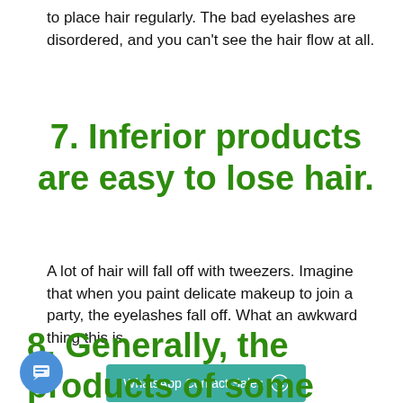to place hair regularly. The bad eyelashes are disordered, and you can't see the hair flow at all.
7. Inferior products are easy to lose hair.
A lot of hair will fall off with tweezers. Imagine that when you paint delicate makeup to join a party, the eyelashes fall off. What an awkward thing this is.
[Figure (other): WhatsApp Contact Sales button in teal color with WhatsApp icon]
8. Generally, the products of some suppliers use chemical